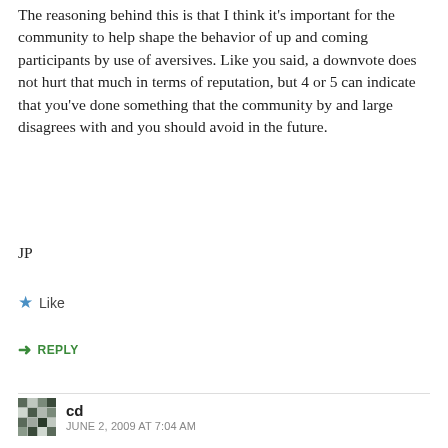The reasoning behind this is that I think it's important for the community to help shape the behavior of up and coming participants by use of aversives. Like you said, a downvote does not hurt that much in terms of reputation, but 4 or 5 can indicate that you've done something that the community by and large disagrees with and you should avoid in the future.
JP
★ Like
➜ REPLY
cd
JUNE 2, 2009 AT 7:04 AM
What I have seen and what I really dislike is tactical